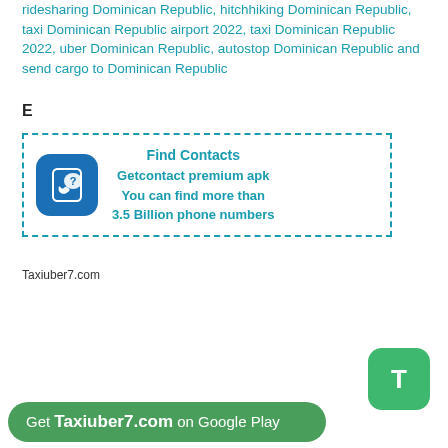ridesharing Dominican Republic, hitchhiking Dominican Republic, taxi Dominican Republic airport 2022, taxi Dominican Republic 2022, uber Dominican Republic, autostop Dominican Republic and send cargo to Dominican Republic
E
[Figure (infographic): Advertisement box with dashed teal border. Left: blue rounded square icon with phone and question mark. Right: teal bold text: Find Contacts / Getcontact premium apk / You can find more than / 3.5 Billion phone numbers]
Taxiuber7.com
[Figure (logo): Green rounded square button with white letter T]
Get Taxiuber7.com on Google Play